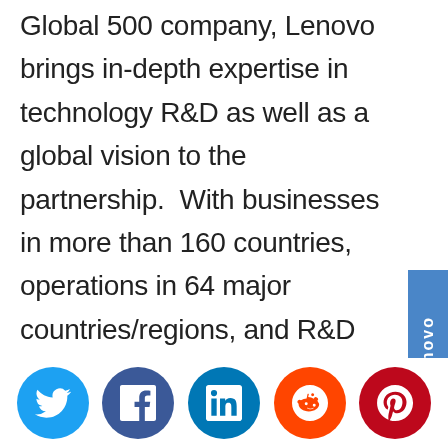Global 500 company, Lenovo brings in-depth expertise in technology R&D as well as a global vision to the partnership. With businesses in more than 160 countries, operations in 64 major countries/regions, and R&D centres in Asia, Europe and the America, we believe the collaboration with Cyberport can promote the development of the cloud
[Figure (logo): Lenovo vertical tab/label on right side in blue with white text]